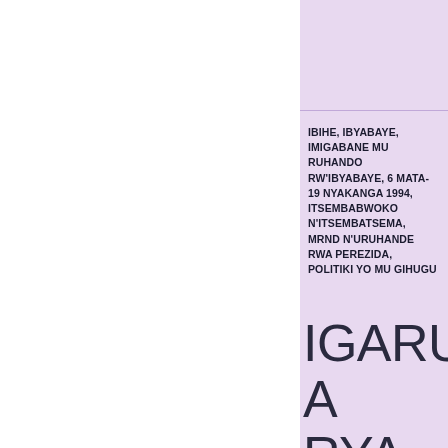IBIHE, IBYABAYE, IMIGABANE MU RUHANDO RW'IBYABAYE, 6 MATA-19 NYAKANGA 1994, ITSEMBABWOKO N'ITSEMBATSEMA, MRND N'URUHANDE RWA PEREZIDA, POLITIKI YO MU GIHUGU
IGARUKA RYA KAREMERA MU